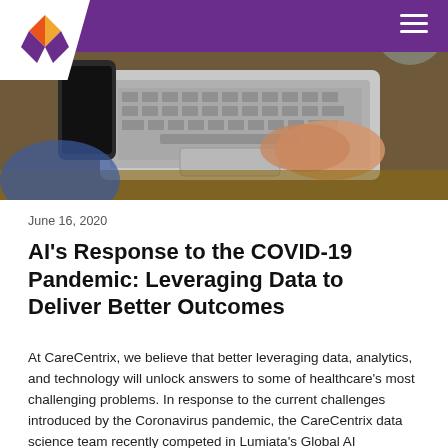[Figure (photo): Header photo showing hands typing on a laptop, with a smartphone nearby on a wooden desk. Purple navigation bar at top with logo and hamburger menu.]
June 16, 2020
AI's Response to the COVID-19 Pandemic: Leveraging Data to Deliver Better Outcomes
At CareCentrix, we believe that better leveraging data, analytics, and technology will unlock answers to some of healthcare's most challenging problems. In response to the current challenges introduced by the Coronavirus pandemic, the CareCentrix data science team recently competed in Lumiata's Global AI Hackathon virtual event alongside 400 teams including public health experts and machine learning experts, engineers, and health IT professionals. The goal was to develop AI-driven solutions that better equip clinicians and healthcare services companies with the tools needed to